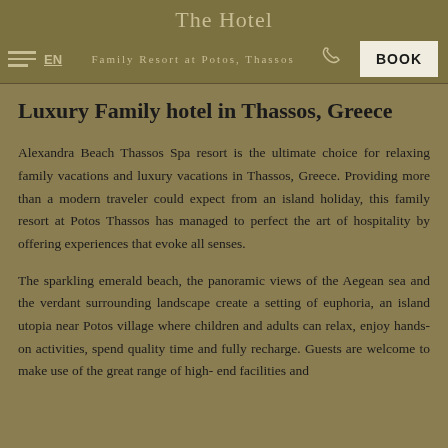The Hotel
EN  Family Resort at Potos, Thassos  BOOK
Luxury Family hotel in Thassos, Greece
Alexandra Beach Thassos Spa resort is the ultimate choice for relaxing family vacations and luxury vacations in Thassos, Greece. Providing more than a modern traveler could expect from an island holiday, this family resort at Potos Thassos has managed to perfect the art of hospitality by offering experiences that evoke all senses.
The sparkling emerald beach, the panoramic views of the Aegean sea and the verdant surrounding landscape create a setting of euphoria, an island utopia near Potos village where children and adults can relax, enjoy hands-on activities, spend quality time and fully recharge. Guests are welcome to make use of the great range of high- end facilities and